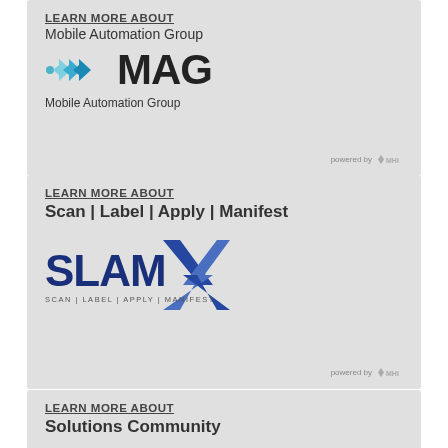[Figure (logo): Advertisement box: LEARN MORE ABOUT Mobile Automation Group. MAG logo with teal arrows and bold MAG text. Subtitle: Mobile Automation Group. Powered by MHI.]
[Figure (logo): Advertisement box: LEARN MORE ABOUT Scan | Label | Apply | Manifest. SLAMX logo with blue X graphic and text SCAN | LABEL | APPLY | MANIFEST. Powered by MHI.]
[Figure (logo): Advertisement box: LEARN MORE ABOUT Solutions Community (partially visible, cut off at bottom).]